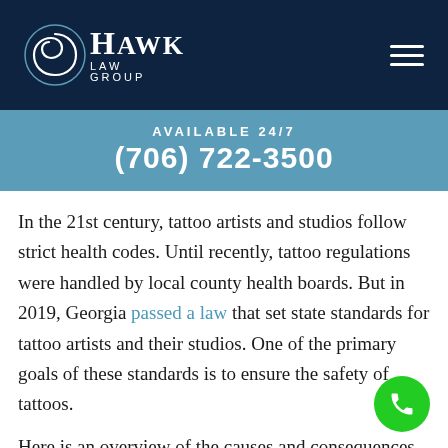[Figure (logo): Hawk Law Group logo with spiral emblem and white text on dark navy background, with hamburger menu icon on right]
AVAILABLE 24/7
(706) 722-3500
In the 21st century, tattoo artists and studios follow strict health codes. Until recently, tattoo regulations were handled by local county health boards. But in 2019, Georgia passed a law that set state standards for tattoo artists and their studios. One of the primary goals of these standards is to ensure the safety of tattoos.
Here is an overview of the causes and consequences